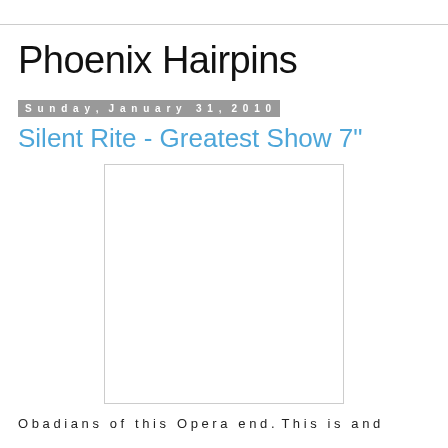Phoenix Hairpins
Sunday, January 31, 2010
Silent Rite - Greatest Show 7"
[Figure (photo): White/blank image placeholder with light gray border]
O b a d i a n s o f t h i s O p e r a e n d . T h i s i s a n d